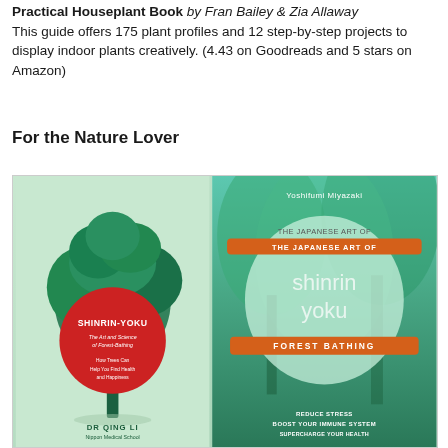Practical Houseplant Book by Fran Bailey & Zia Allaway. This guide offers 175 plant profiles and 12 step-by-step projects to display indoor plants creatively. (4.43 on Goodreads and 5 stars on Amazon)
For the Nature Lover
[Figure (photo): Two book covers side by side. Left: 'Shinrin-Yoku: The Art and Science of Forest-Bathing, How Trees Can Help You Find Health and Happiness' by Dr Qing Li, with a green background, illustrated pine tree, and large red circle. Right: 'The Japanese Art of Shinrin Yoku: Forest Bathing' by Yoshifumi Miyazaki, with a forest photo background, circular light-green overlay, and orange banner accents.]